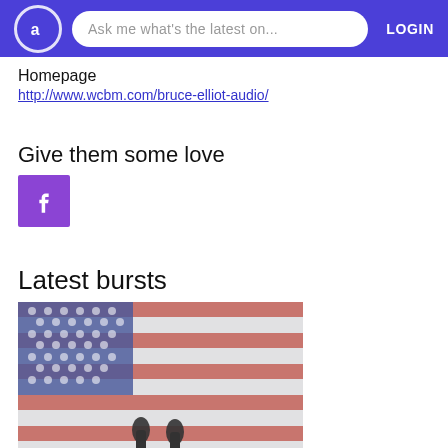Ask me what's the latest on... LOGIN
Homepage
http://www.wcbm.com/bruce-elliot-audio/
Give them some love
[Figure (logo): Facebook icon button - purple square with white f logo]
Latest bursts
[Figure (photo): Blurred American flag with two microphones on a podium in the foreground]